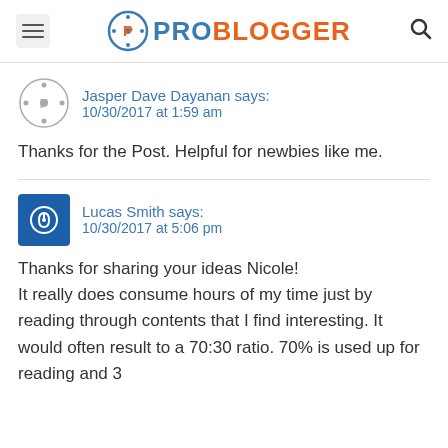PRO BLOGGER
Jasper Dave Dayanan says:
10/30/2017 at 1:59 am
Thanks for the Post. Helpful for newbies like me.
Lucas Smith says:
10/30/2017 at 5:06 pm
Thanks for sharing your ideas Nicole!
It really does consume hours of my time just by reading through contents that I find interesting. It would often result to a 70:30 ratio. 70% is used up for reading and 3